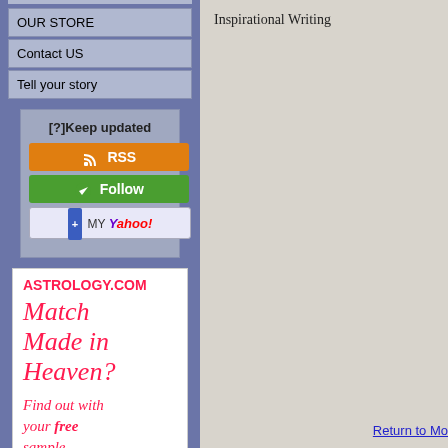OUR STORE
Contact US
Tell your story
[?]Keep updated
[Figure (screenshot): RSS subscription button (orange)]
[Figure (screenshot): Follow button (green)]
[Figure (screenshot): My Yahoo! add button]
[Figure (advertisement): Astrology.com ad: Match Made in Heaven? Find out with your free sample]
Inspirational Writing
Return to Mo